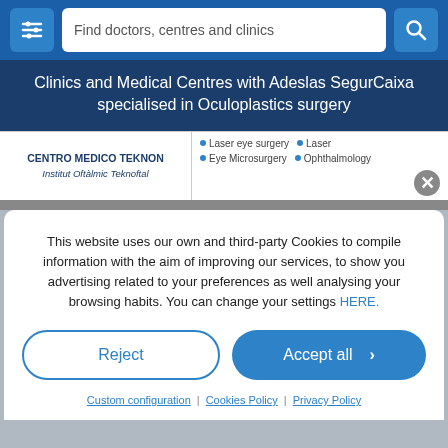[Figure (screenshot): Navigation bar with filter icon, search box reading 'Find doctors, centres and clinics', and search button]
Clinics and Medical Centres with Adeslas SegurCaixa specialised in Oculoplastics surgery
| Clinic | Specialties |
| --- | --- |
| CENTRO MEDICO TEKNON
Institut Oftàlmic Teknoftal | Laser eye surgery • Laser
Eye Microsurgery • Ophthalmology |
This website uses our own and third-party Cookies to compile information with the aim of improving our services, to show you advertising related to your preferences as well analysing your browsing habits. You can change your settings HERE.
Reject
Accept all
Custom configuration | Cookies Policy | Privacy Policy